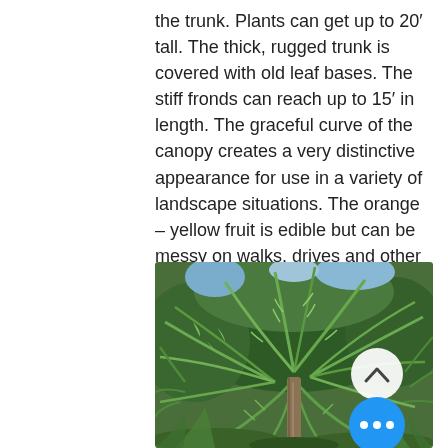the trunk. Plants can get up to 20' tall. The thick, rugged trunk is covered with old leaf bases. The stiff fronds can reach up to 15' in length. The graceful curve of the canopy creates a very distinctive appearance for use in a variety of landscape situations. The orange – yellow fruit is edible but can be messy on walks, drives and other paved surfaces.
[Figure (photo): A palm tree with lush green feathery fronds photographed from below, with dense foliage in the background. A white circular back button and a blue circular more-options button are overlaid on the image.]